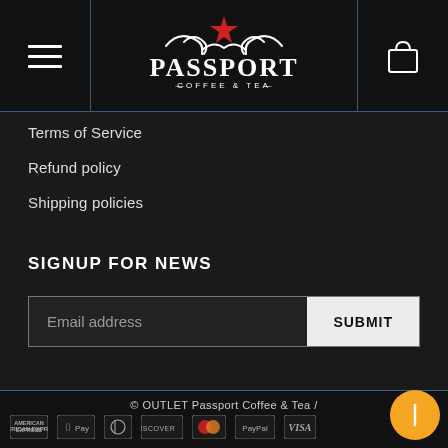Passport Coffee & Tea — site header with hamburger menu, logo, and cart icon
Terms of Service
Refund policy
Shipping policies
SIGNUP FOR NEWS
Email address [input field] SUBMIT [button]
© OUTLET Passport Coffee & Tea /
[Figure (logo): Payment method icons: American Express, Apple Pay, Diners Club, Discover, Mastercard, PayPal, Visa]